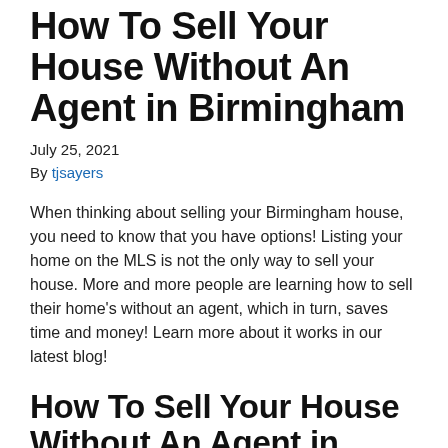How To Sell Your House Without An Agent in Birmingham
July 25, 2021
By tjsayers
When thinking about selling your Birmingham house, you need to know that you have options! Listing your home on the MLS is not the only way to sell your house. More and more people are learning how to sell their home’s without an agent, which in turn, saves time and money! Learn more about it works in our latest blog!
How To Sell Your House Without An Agent in Birmingham